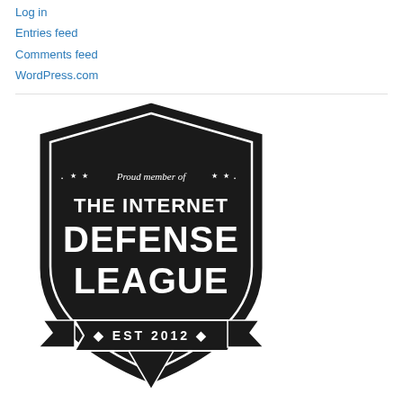Log in
Entries feed
Comments feed
WordPress.com
[Figure (logo): Internet Defense League badge — black shield-shaped logo with text 'Proud member of THE INTERNET DEFENSE LEAGUE EST 2012' with stars decoration]